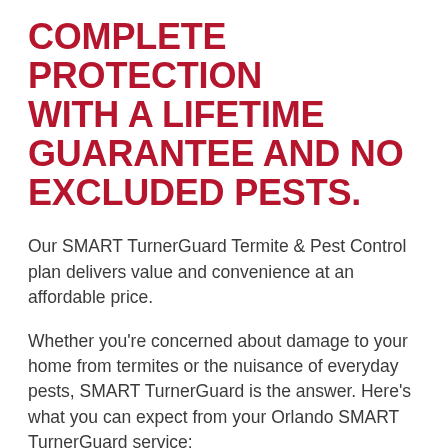COMPLETE PROTECTION WITH A LIFETIME GUARANTEE AND NO EXCLUDED PESTS.
Our SMART TurnerGuard Termite & Pest Control plan delivers value and convenience at an affordable price.
Whether you're concerned about damage to your home from termites or the nuisance of everyday pests, SMART TurnerGuard is the answer. Here's what you can expect from your Orlando SMART TurnerGuard service:
COMPLETE FIRST INSPECTION
Our experts inspect the interior and exterior of your home for termite damage, wood rot, or any other condition that makes your home more vulnerable to termites.